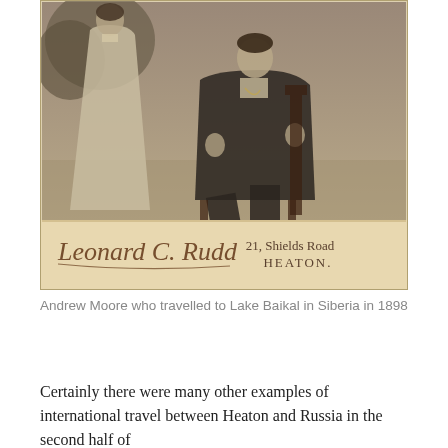[Figure (photo): Sepia-toned antique cabinet card photograph showing two people: a woman in a light Victorian dress standing on the left, and a man in dark formal attire seated in a chair on the right, photographed outdoors. At the bottom of the card is ornate cursive script reading 'Leonard C. Rudd' and to the right '21, Shields Road HEATON.']
Andrew Moore who travelled to Lake Baikal in Siberia in 1898
Certainly there were many other examples of international travel between Heaton and Russia in the second half of